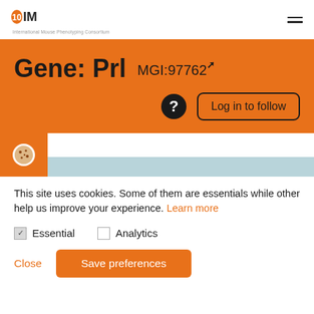IMPC - International Mouse Phenotyping Consortium
Gene: Prl MGI:97762
Log in to follow
This site uses cookies. Some of them are essentials while other help us improve your experience. Learn more
Essential
Analytics
Close  Save preferences